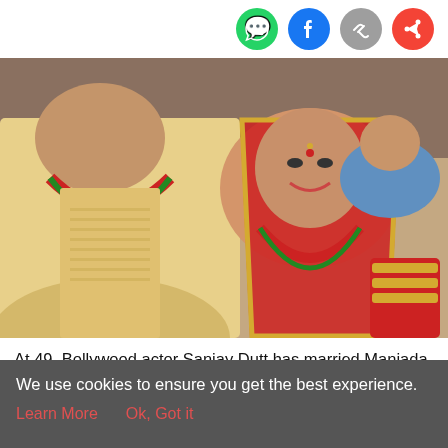[Figure (photo): Social media sharing icons: WhatsApp (green), Facebook (blue), link/copy (gray), share (red/pink) arranged horizontally in top-right corner]
[Figure (photo): Wedding photo of Bollywood actor Sanjay Dutt and his bride Maniada dressed in traditional Indian wedding attire. Groom in yellow/cream sherwani with garland, bride in red saree with dupatta, bangles and jewelry visible.]
At 49, Bollywood actor Sanjay Dutt has married Maniada.
This is Sanjay's third marriage. But it is the first marriage to
We use cookies to ensure you get the best experience.
Learn More    Ok, Got it